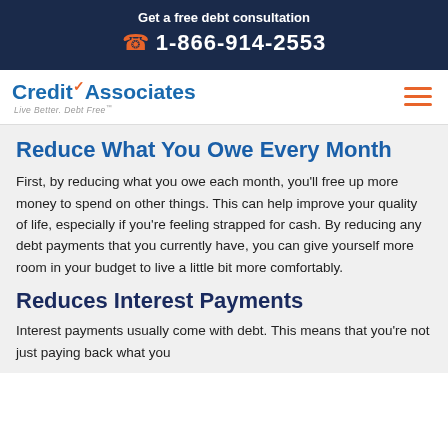Get a free debt consultation
1-866-914-2553
[Figure (logo): CreditAssociates logo with orange checkmark, tagline: Live Better. Debt Free]
Reduce What You Owe Every Month
First, by reducing what you owe each month, you'll free up more money to spend on other things. This can help improve your quality of life, especially if you're feeling strapped for cash. By reducing any debt payments that you currently have, you can give yourself more room in your budget to live a little bit more comfortably.
Reduces Interest Payments
Interest payments usually come with debt. This means that you're not just paying back what you